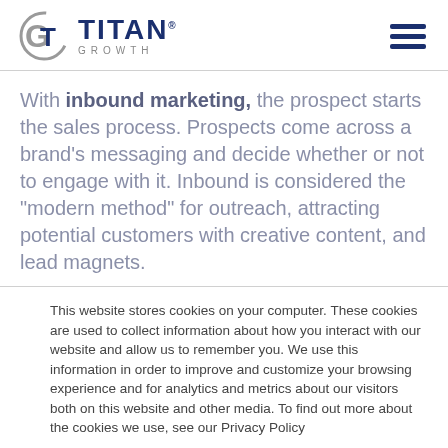Titan Growth
With inbound marketing, the prospect starts the sales process. Prospects come across a brand's messaging and decide whether or not to engage with it. Inbound is considered the “modern method” for outreach, attracting potential customers with creative content, and lead magnets.
This website stores cookies on your computer. These cookies are used to collect information about how you interact with our website and allow us to remember you. We use this information in order to improve and customize your browsing experience and for analytics and metrics about our visitors both on this website and other media. To find out more about the cookies we use, see our Privacy Policy
Accept